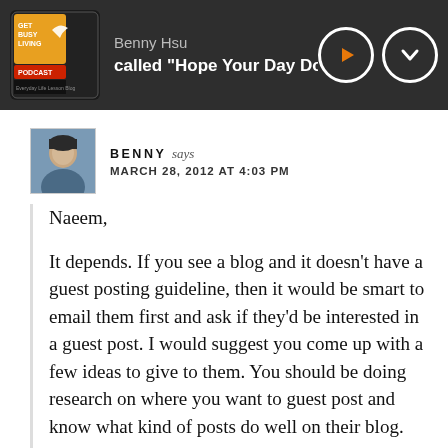Benny Hsu | called "Hope Your Day Doesn't Suck"
BENNY says
MARCH 28, 2012 AT 4:03 PM
Naeem,

It depends. If you see a blog and it doesn't have a guest posting guideline, then it would be smart to email them first and ask if they'd be interested in a guest post. I would suggest you come up with a few ideas to give to them. You should be doing research on where you want to guest post and know what kind of posts do well on their blog.

Some bigger blogs will require you to submit your completed guest post to them. They may